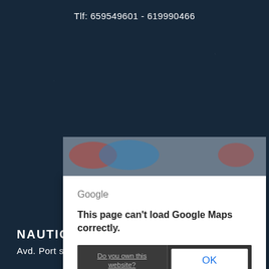Tlf: 659549601 - 619990466
[Figure (screenshot): Google Maps error dialog overlaid on a Google Maps view. The dialog shows 'Google' header, message 'This page can't load Google Maps correctly.', a dark button area with 'Do you own this website?' link and an 'OK' button. Below is the Google Maps footer with logo, Keyboard shortcuts, Map Data, Terms of Use.]
NAUTICA ASN
Avd. Port salinas nº 22